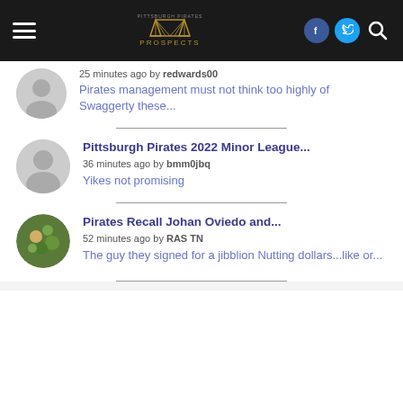Pirates Prospects navigation bar with logo, Facebook, Twitter, and search icons
25 minutes ago by redwards00
Pirates management must not think too highly of Swaggerty these...
Pittsburgh Pirates 2022 Minor League...
36 minutes ago by bmm0jbq
Yikes not promising
Pirates Recall Johan Oviedo and...
52 minutes ago by RAS TN
The guy they signed for a jibblion Nutting dollars...like or...